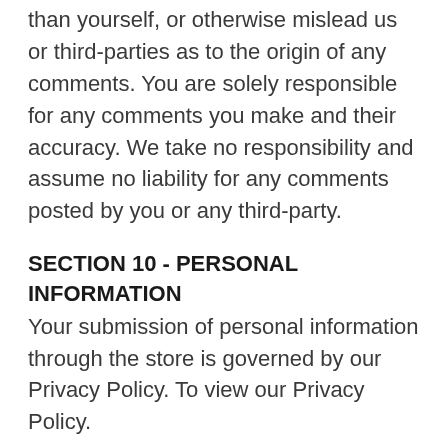than yourself, or otherwise mislead us or third-parties as to the origin of any comments. You are solely responsible for any comments you make and their accuracy. We take no responsibility and assume no liability for any comments posted by you or any third-party.
SECTION 10 - PERSONAL INFORMATION
Your submission of personal information through the store is governed by our Privacy Policy. To view our Privacy Policy.
SECTION 11 - ERRORS, INACCURACIES AND OMISSIONS
Occasionally there may be information on our site or in the Service that contains typographical errors, inaccuracies or omissions that may relate to product descriptions, pricing, promotions, offers, product shipping charges, transit times and